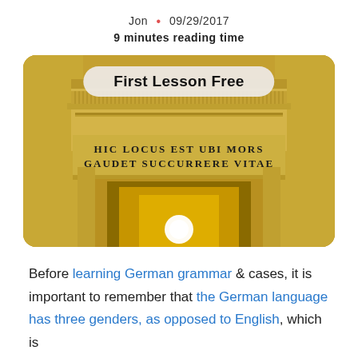Jon · 09/29/2017
9 minutes reading time
[Figure (photo): Photo of a classical architectural doorway with golden-yellow walls. Above the door, Latin text reads: HIC LOCUS EST UBI MORS GAUDET SUCCURRERE VITAE. A rounded rectangular banner overlay reads 'First Lesson Free'.]
Before learning German grammar & cases, it is important to remember that the German language has three genders, as opposed to English, which is